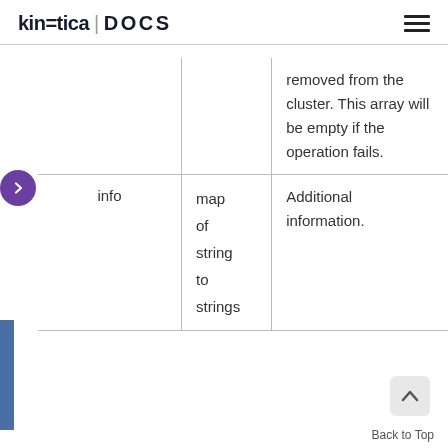kinetica | DOCS
|  |  |  |
| --- | --- | --- |
|  |  | removed from the cluster. This array will be empty if the operation fails. |
| info | map of string to strings | Additional information. |
Back to Top